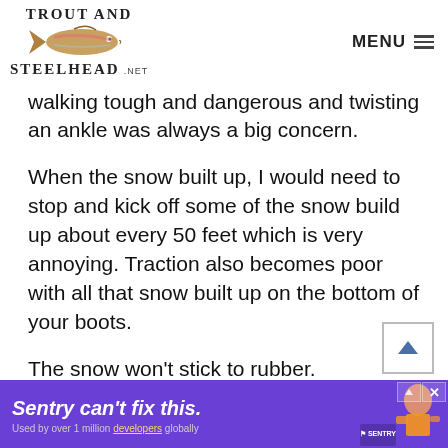TROUT AND STEELHEAD .NET  MENU
walking tough and dangerous and twisting an ankle was always a big concern.
When the snow built up, I would need to stop and kick off some of the snow build up about every 50 feet which is very annoying. Traction also becomes poor with all that snow built up on the bottom of your boots.
The snow won't stick to rubber.
[Figure (screenshot): Advertisement banner: 'Sentry can't fix this.' with Sentry logo and figure illustration on purple background]